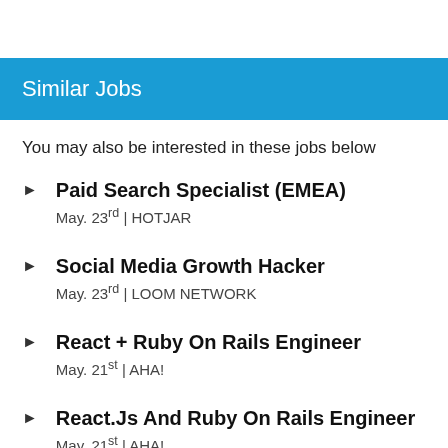Similar Jobs
You may also be interested in these jobs below
Paid Search Specialist (EMEA)
May. 23rd | HOTJAR
Social Media Growth Hacker
May. 23rd | LOOM NETWORK
React + Ruby On Rails Engineer
May. 21st | AHA!
React.Js And Ruby On Rails Engineer
May. 21st | AHA!